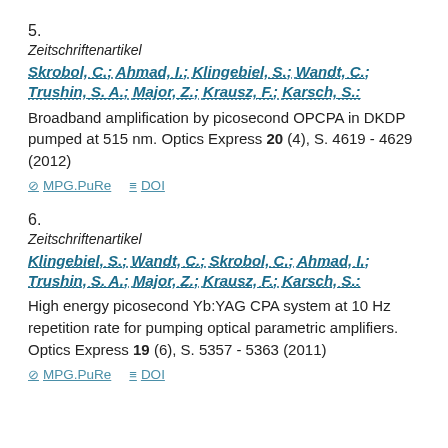5.
Zeitschriftenartikel
Skrobol, C.; Ahmad, I.; Klingebiel, S.; Wandt, C.; Trushin, S. A.; Major, Z.; Krausz, F.; Karsch, S.:
Broadband amplification by picosecond OPCPA in DKDP pumped at 515 nm. Optics Express 20 (4), S. 4619 - 4629 (2012)
MPG.PuRe   DOI
6.
Zeitschriftenartikel
Klingebiel, S.; Wandt, C.; Skrobol, C.; Ahmad, I.; Trushin, S. A.; Major, Z.; Krausz, F.; Karsch, S.:
High energy picosecond Yb:YAG CPA system at 10 Hz repetition rate for pumping optical parametric amplifiers. Optics Express 19 (6), S. 5357 - 5363 (2011)
MPG.PuRe   DOI